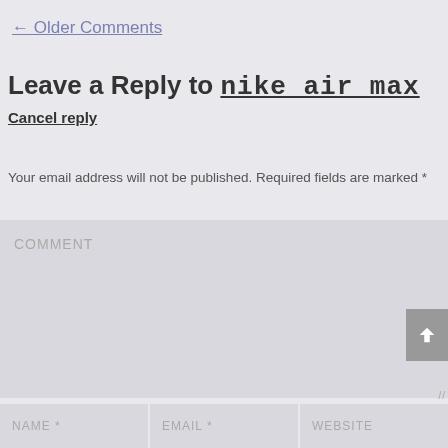← Older Comments
Leave a Reply to nike air max
Cancel reply
Your email address will not be published. Required fields are marked *
COMMENT
NAME *
EMAIL *
WEBSITE